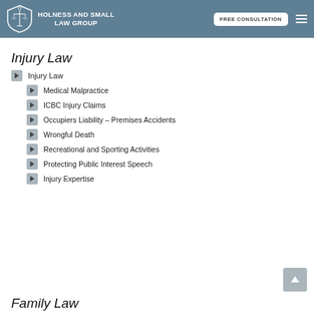HOLNESS AND SMALL LAW GROUP — FREE CONSULTATION
Injury Law
Injury Law
Medical Malpractice
ICBC Injury Claims
Occupiers Liability – Premises Accidents
Wrongful Death
Recreational and Sporting Activities
Protecting Public Interest Speech
Injury Expertise
Family Law